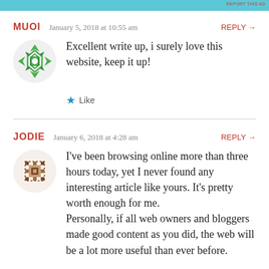[Figure (other): Cyan/teal advertisement bar at top with 'REPORT THIS AD' text in small red letters on the right]
MUOI   January 5, 2018 at 10:55 am   REPLY →
Excellent write up, i surely love this website, keep it up!
★ Like
JODIE   January 6, 2018 at 4:28 am   REPLY →
I've been browsing online more than three hours today, yet I never found any interesting article like yours. It's pretty worth enough for me.
Personally, if all web owners and bloggers made good content as you did, the web will be a lot more useful than ever before.